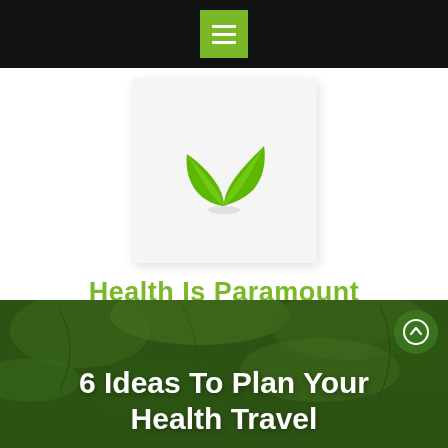[Figure (logo): Hamburger menu icon (three horizontal white lines) on a green square background, centered in a black top bar]
[Figure (logo): Green leaf logo on a light grey square background — two overlapping green leaves forming a plant icon]
Health Is Paramount
Health Care Intervention
[Figure (other): Search icon (magnifying glass) inside a green-outlined square box]
6 Ideas To Plan Your Health Travel